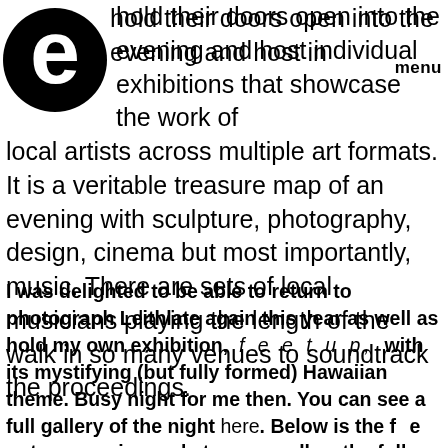[Figure (logo): Large bold lowercase letter 'e' logo in black circle outline]
hold their doors open into the evening and host individual exhibitions that showcase the work of local artists across multiple art formats. It is a veritable treasure map of an evening with sculpture, photography, design, cinema but most importantly, music. There are sets of local musicians playing the length of the walk in so many venues to soundtrack the proceedings.
I was delighted to be able to return to photograph Leithlate again this year as well as hold my own exhibition, f e e t u p, with its mystifying (but fully formed) Hawaiian theme. Busy night for me then. You can see a full gallery of the night here. Below is the f e e t u p pineapple tour as well as the full video tour, in which I merged every single photo from the night (even the wonky ones) into a wickedly fun animation. Enjoy, count my cameos and try to imagine it's